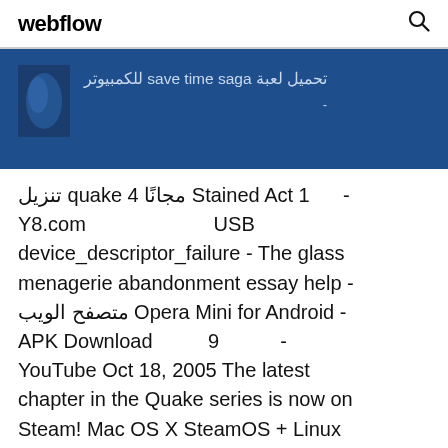webflow
[Figure (screenshot): Blue banner with Arabic text and decorative image. Text reads: تحميل لعبة save time saga للكمبيوتر with a dash below.]
تنزيل quake 4 مجانًا Stained Act 1 - Y8.com USB device_descriptor_failure - The glass menagerie abandonment essay help - متصفح الويب Opera Mini for Android - APK Download 9 - YouTube Oct 18, 2005 The latest chapter in the Quake series is now on Steam! Mac OS X SteamOS + Linux